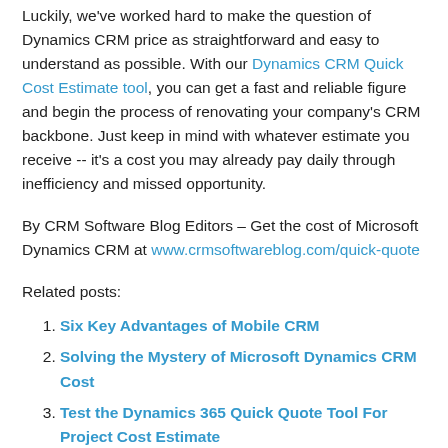Luckily, we've worked hard to make the question of Dynamics CRM price as straightforward and easy to understand as possible. With our Dynamics CRM Quick Cost Estimate tool, you can get a fast and reliable figure and begin the process of renovating your company's CRM backbone. Just keep in mind with whatever estimate you receive -- it's a cost you may already pay daily through inefficiency and missed opportunity.
By CRM Software Blog Editors – Get the cost of Microsoft Dynamics CRM at www.crmsoftwareblog.com/quick-quote
Related posts:
Six Key Advantages of Mobile CRM
Solving the Mystery of Microsoft Dynamics CRM Cost
Test the Dynamics 365 Quick Quote Tool For Project Cost Estimate